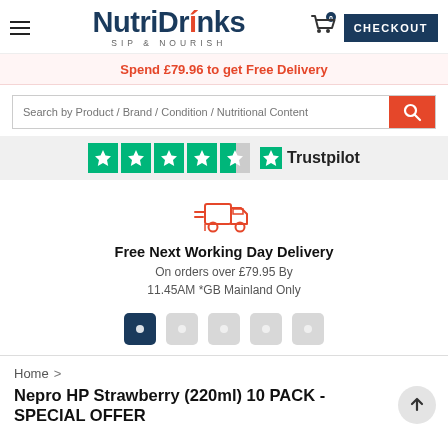[Figure (logo): NutriDrinks Sip & Nourish logo with hamburger menu, cart icon with 0 badge, and CHECKOUT button]
Spend £79.96 to get Free Delivery
Search by Product / Brand / Condition / Nutritional Content
[Figure (other): Trustpilot rating showing 4.5 stars and Trustpilot brand logo]
[Figure (illustration): Delivery truck icon in coral/orange outline style]
Free Next Working Day Delivery
On orders over £79.95 By
11.45AM *GB Mainland Only
[Figure (other): Carousel navigation dots, 5 dots with first active (dark blue)]
Home > Nepro HP Strawberry (220ml) 10 PACK - SPECIAL OFFER